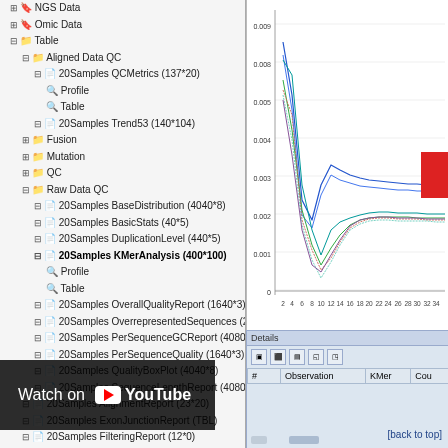[Figure (screenshot): Software interface showing a file/data tree panel on the left with NGS Data, Omic Data, Table, Aligned Data QC, and various 20Samples datasets listed. On the right is a line chart showing KMer analysis data with multiple colored lines converging, y-axis from 0 to 0.009, x-axis from 2 to 34+. A Details panel below shows a table with columns #, Observation, KMer, Cou. A YouTube overlay appears at the bottom left.]
[back to top]